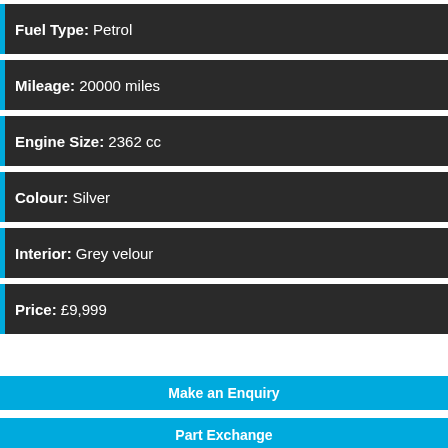Fuel Type: Petrol
Mileage: 20000 miles
Engine Size: 2362 cc
Colour: Silver
Interior: Grey velour
Price: £9,999
Make an Enquiry
Part Exchange